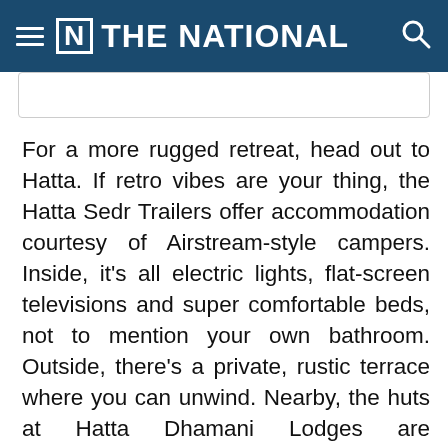THE NATIONAL
For a more rugged retreat, head out to Hatta. If retro vibes are your thing, the Hatta Sedr Trailers offer accommodation courtesy of Airstream-style campers. Inside, it's all electric lights, flat-screen televisions and super comfortable beds, not to mention your own bathroom. Outside, there's a private, rustic terrace where you can unwind. Nearby, the huts at Hatta Dhamani Lodges are surrounded by mountains and feel much like a small hotel room, with floor-to-ceiling glass doors that open on to a stilted deck. Communal barbecue facilities and viewing decks round off the experience at Hatta. We didn't bring out f…